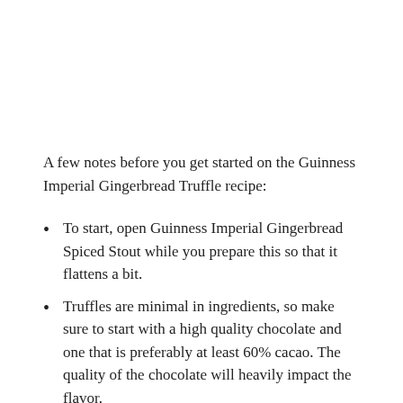A few notes before you get started on the Guinness Imperial Gingerbread Truffle recipe:
To start, open Guinness Imperial Gingerbread Spiced Stout while you prepare this so that it flattens a bit.
Truffles are minimal in ingredients, so make sure to start with a high quality chocolate and one that is preferably at least 60% cacao. The quality of the chocolate will heavily impact the flavor.
You can shape truffles in any shape, but if you cut them into squares like you see here, make sure to: (1) Use a warm knife to easily cut through the truffle. This can be done by